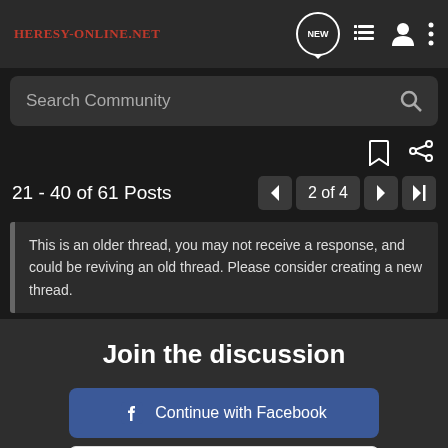[Figure (screenshot): Heresy-Online.net website header with logo and navigation icons (NEW chat bubble, list, user, more menu)]
[Figure (screenshot): Search Community search bar with magnifying glass icon]
[Figure (screenshot): Bookmark and share icons]
21 - 40 of 61 Posts
[Figure (screenshot): Pagination controls: left arrow, 2 of 4, right arrow, last page arrow]
This is an older thread, you may not receive a response, and could be reviving an old thread. Please consider creating a new thread.
Join the discussion
Continue with Facebook
Continue with Google